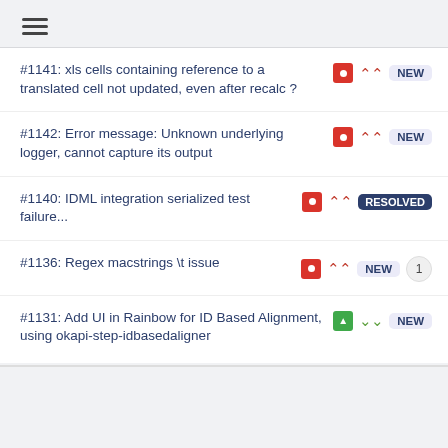☰ (hamburger menu icon)
#1141: xls cells containing reference to a translated cell not updated, even after recalc ?
#1142: Error message: Unknown underlying logger, cannot capture its output
#1140: IDML integration serialized test failure...
#1136: Regex macstrings \t issue
#1131: Add UI in Rainbow for ID Based Alignment, using okapi-step-idbasedaligner